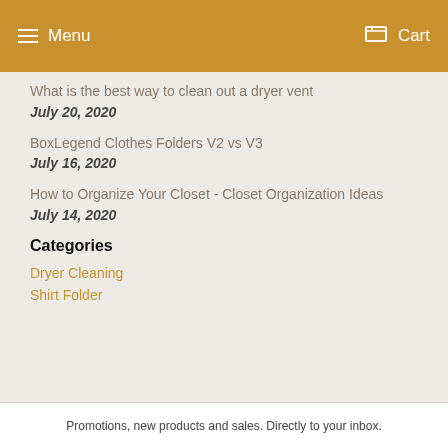Menu  Cart
What is the best way to clean out a dryer vent
July 20, 2020
BoxLegend Clothes Folders V2 vs V3
July 16, 2020
How to Organize Your Closet - Closet Organization Ideas
July 14, 2020
Categories
Dryer Cleaning
Shirt Folder
Promotions, new products and sales. Directly to your inbox.